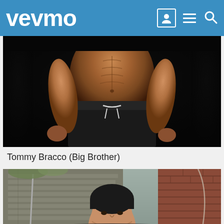vevmo
[Figure (photo): Shirtless muscular man, torso visible wearing black shorts with white drawstring, dark background]
Tommy Bracco (Big Brother)
[Figure (photo): Young dark-haired man standing in front of outdoor stone staircase and brick wall]